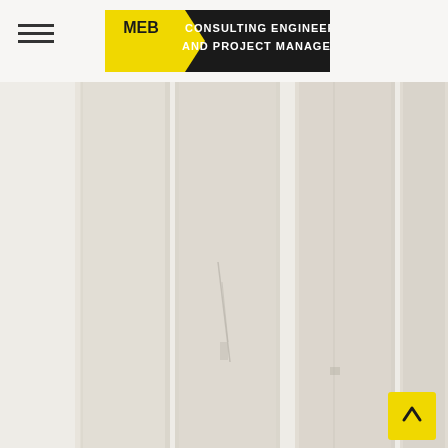[Figure (logo): MEB Consulting Engineers and Project Managers logo — black rectangular banner with yellow MEB badge on left and white text on right]
[Figure (photo): Gallery/portfolio section showing tall vertical faded photographs of engineering or construction projects arranged as vertical strips across a light beige background. A yellow scroll-to-top button with a chevron arrow is in the bottom-right corner.]